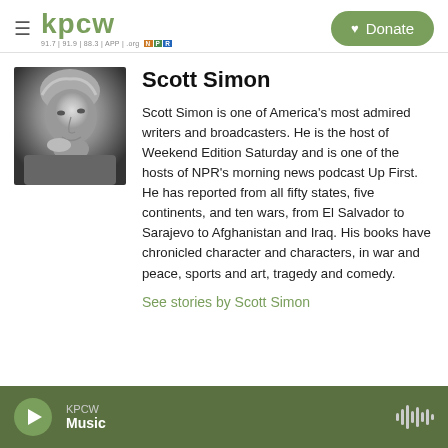KPCW | 91.7 | 91.9 | 88.3 | APP | .org | Donate
[Figure (photo): Black and white portrait photo of Scott Simon, a middle-aged man with grey hair, resting his chin on his hand and looking to the side with a slight smile.]
Scott Simon
Scott Simon is one of America's most admired writers and broadcasters. He is the host of Weekend Edition Saturday and is one of the hosts of NPR's morning news podcast Up First. He has reported from all fifty states, five continents, and ten wars, from El Salvador to Sarajevo to Afghanistan and Iraq. His books have chronicled character and characters, in war and peace, sports and art, tragedy and comedy.
See stories by Scott Simon
KPCW Music